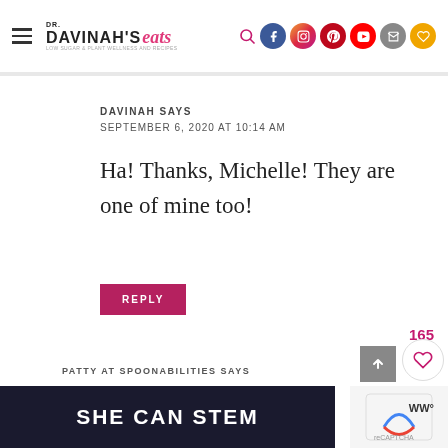Dr. Davinah's Eats
DAVINAH SAYS
SEPTEMBER 6, 2020 AT 10:14 AM
Ha! Thanks, Michelle! They are one of mine too!
REPLY
165
PATTY AT SPOONABILITIES SAYS
[Figure (screenshot): SHE CAN STEM advertisement banner with white bold text on dark background]